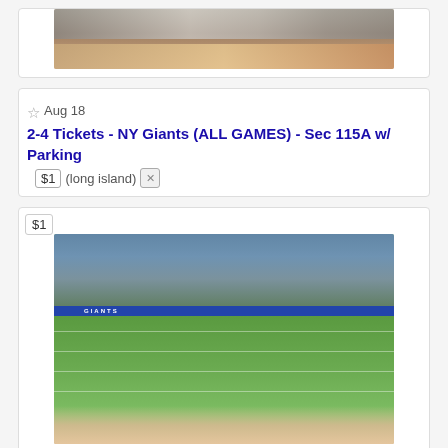[Figure (photo): Partial top view of stadium crowd from a ticket listing for NY Giants]
Aug 18  2-4 Tickets - NY Giants (ALL GAMES) - Sec 115A w/ Parking  $1  (long island)  [x]
[Figure (photo): NY Giants football game in progress at MetLife Stadium, view from field level, crowd in stands, GIANTS signage visible on blue sideline wall, price tag $1]
Aug 18  2-4 Tickets - NY Giants (ALL GAMES) - Sec 115A w/ Parking  $1  (Midtown)  [x]
[Figure (photo): Partial bottom view of another ticket listing, light gray background with faint logo]